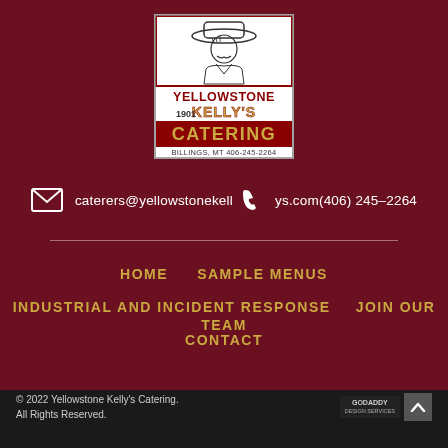[Figure (logo): Yellowstone Kelly's Catering logo — western-style illustration of a cowboy figure, text reads YELLOWSTONE KELLY'S 1901 CATERING, BILLINGS, MT 406-245-2264, gold and maroon colors]
caterers@yellowstonekellys.com  (406) 245-2264
HOME
SAMPLE MENUS
INDUSTRIAL AND INCIDENT RESPONSE
JOIN OUR TEAM
CONTACT
© 2022 Yellowstone Kelly's Catering. All Rights Reserved.